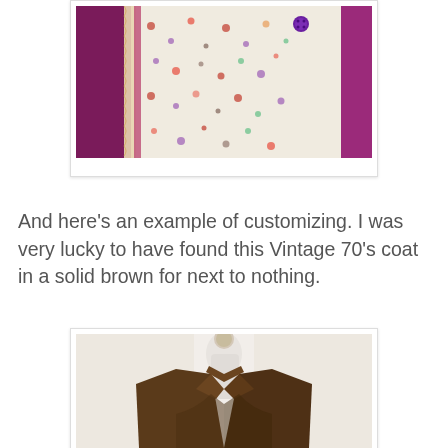[Figure (photo): Close-up photo of floral patterned fabric with lace trim on a purple/magenta background, showing customized vintage clothing detail.]
And here's an example of customizing. I was very lucky to have found this Vintage 70's coat in a solid brown for next to nothing.
[Figure (photo): Photo of a brown vintage 70's coat displayed on a white dress form/mannequin, showing the collar and upper portion of the coat against a light background.]